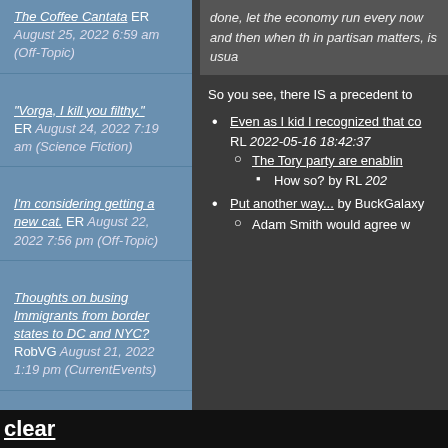The Coffee Cantata ER August 25, 2022 6:59 am (Off-Topic)
"Vorga, I kill you filthy." ER August 24, 2022 7:19 am (Science Fiction)
I'm considering getting a new cat. ER August 22, 2022 7:56 pm (Off-Topic)
Thoughts on busing Immigrants from border states to DC and NYC? RobVG August 21, 2022 1:19 pm (CurrentEvents)
done, let the economy run every now and then when th in partisan matters, is usua
So you see, there IS a precedent to
Even as I kid I recognized that co RL 2022-05-16 18:42:37
The Tory party are enablin
How so? by RL 202
Put another way... by BuckGalaxy
Adam Smith would agree w
clear